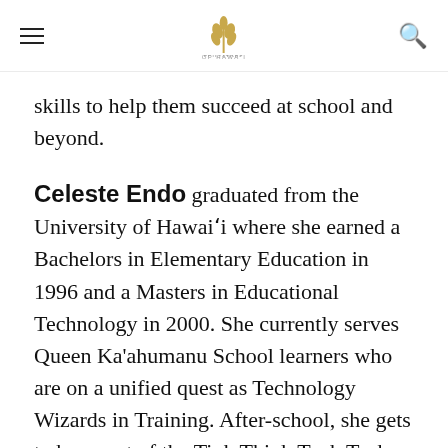≡ [Education Hawaii logo] 🔍
skills to help them succeed at school and beyond.
Celeste Endo graduated from the University of Hawai'i where she earned a Bachelors in Elementary Education in 1996 and a Masters in Educational Technology in 2000. She currently serves Queen Ka'ahumanu School learners who are on a unified quest as Technology Wizards in Training. After-school, she gets to be a part of the Tink Think Tank Tech Team (T5). She is a slow